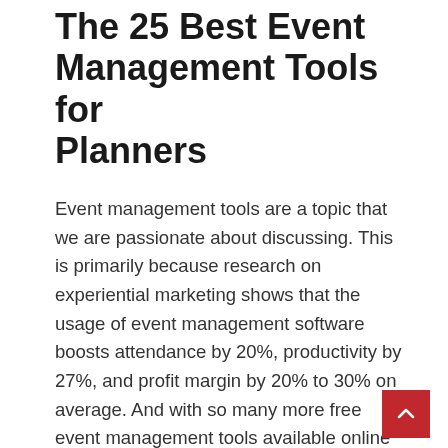The 25 Best Event Management Tools for Planners
Event management tools are a topic that we are passionate about discussing. This is primarily because research on experiential marketing shows that the usage of event management software boosts attendance by 20%, productivity by 27%, and profit margin by 20% to 30% on average. And with so many more free event management tools available online these days, it’s no surprise that more and more event planners are taking the time to investigate what’s out there to be found. Using feedback from genuine users, their relative rankings on software ranking